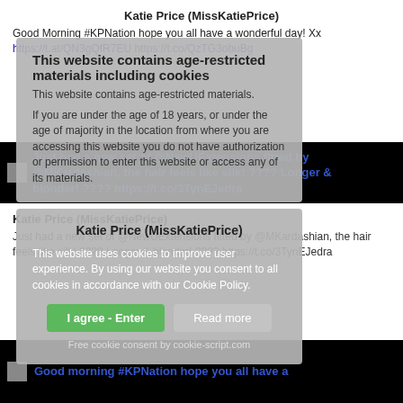Katie Price (MissKatiePrice)
Good Morning #KPNation hope you all have a wonderful day! Xx https://t.at/QN3gQfR7EU https://t.co/QzTG3obuBg
This website contains age-restricted materials.
If you are under the age of 18 years, or under the age of majority in the location from where you are accessing this website you do not have authorization or permission to enter this website or access any of its materials.
[Figure (screenshot): Black bar with image thumbnail and blue link text: Just had a new set of @NewUExtensions fitted by @MKardashian, the hair feels like silk! ???? Longer & blonder! ???? https://t.co/3TynEJedra]
Katie Price (MissKatiePrice)
Just had a new set of @NewUExtensions fitted by @MKardashian, the hair feels like silk! ???? Longer & blonder! ???? https://t.co/3TynEJedra
This website uses cookies to improve user experience. By using our website you consent to all cookies in accordance with our Cookie Policy.
I agree - Enter
Read more
Free cookie consent by cookie-script.com
[Figure (screenshot): Black bar at bottom with image thumbnail and blue link text: Good morning #KPNation hope you all have a]